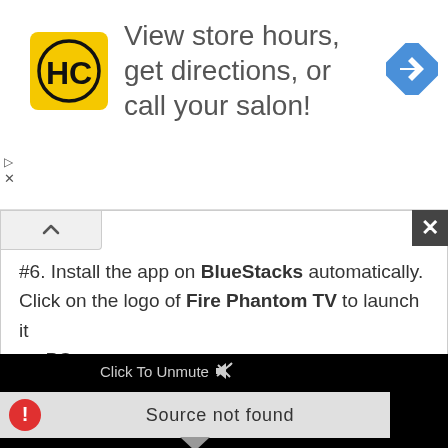[Figure (infographic): Advertisement banner with HC logo (yellow square with HC text), text 'View store hours, get directions, or call your salon!', and a blue diamond arrow icon on the right. Small play/close icons on the left side.]
#6. Install the app on BlueStacks automatically. Click on the logo of Fire Phantom TV to launch it on PC.
[Figure (screenshot): Black video player area with 'Click To Unmute' label with mute icon, and a 'Source not found' error bar with red exclamation icon. A tooltip triangle beneath the error bar.]